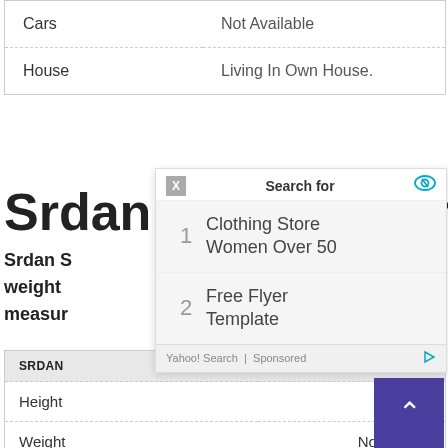|  |  |
| --- | --- |
| Cars | Not Available |
| House | Living In Own House. |
[Figure (screenshot): A Yahoo Search sponsored ad overlay showing 'Search for' with two results: 1. Clothing Store Women Over 50, 2. Free Flyer Template, with Yahoo! Search | Sponsored footer]
Srdan ... eight
Srdan S... 1 in
weight
measur... .
| SRDAN... | ...BODY |
| --- | --- |
| Height | 6 Ft 1 In |
| Weight | Not Known |
| Body Measurements | Under Review |